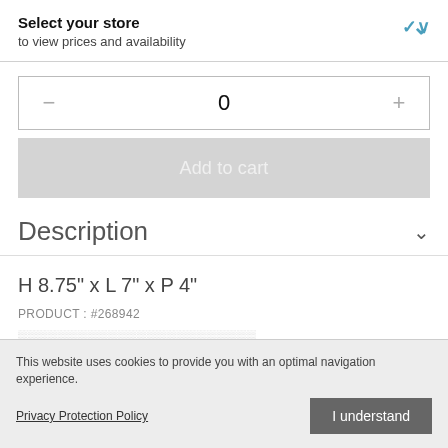Select your store
to view prices and availability
- 0 +
Add to cart
Description
H 8.75" x L 7" x P 4"
PRODUCT : #268942
This website uses cookies to provide you with an optimal navigation experience.
Privacy Protection Policy
I understand